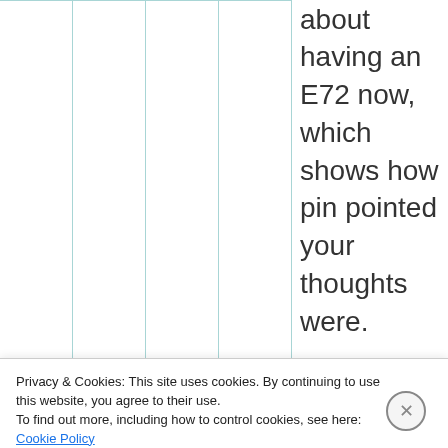about having an E72 now, which shows how pin pointed your thoughts were.

Still you
Privacy & Cookies: This site uses cookies. By continuing to use this website, you agree to their use.
To find out more, including how to control cookies, see here: Cookie Policy